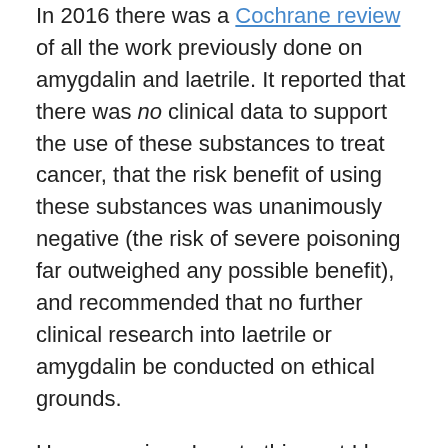In 2016 there was a Cochrane review of all the work previously done on amygdalin and laetrile. It reported that there was no clinical data to support the use of these substances to treat cancer, that the risk benefit of using these substances was unanimously negative (the risk of severe poisoning far outweighed any possible benefit), and recommended that no further clinical research into laetrile or amygdalin be conducted on ethical grounds.
However, since I wrote this post I have been made aware that some research is still ongoing. Well, science is about finding answers after all. For example, both of the following papers have been published since the Cochrane review:
Advanced research on anti-tumor effects of amygdalin (J Cancer Res Ther. 2014, Aug)
Amygdalin Blocks Bladder Cancer Cell Growth In Vitro